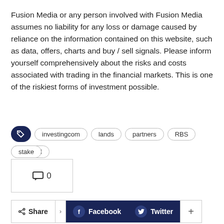Fusion Media or any person involved with Fusion Media assumes no liability for any loss or damage caused by reliance on the information contained on this website, such as data, offers, charts and buy / sell signals. Please inform yourself comprehensively about the risks and costs associated with trading in the financial markets. This is one of the riskiest forms of investment possible.
investingcom  lands  partners  RBS  reduced  stake
💬 0
< Share  f Facebook  y Twitter  +
Lalaine  -  5732 Posts  -  0 Comments